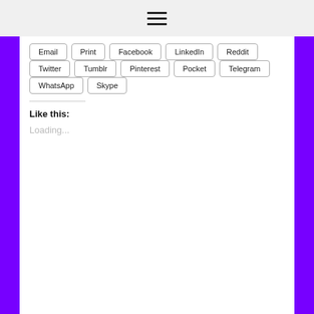☰
Email
Print
Facebook
LinkedIn
Reddit
Twitter
Tumblr
Pinterest
Pocket
Telegram
WhatsApp
Skype
Like this:
Loading...